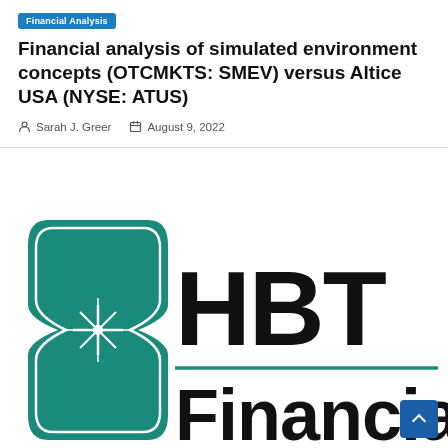Financial Analysis
Financial analysis of simulated environment concepts (OTCMKTS: SMEV) versus Altice USA (NYSE: ATUS)
Sarah J. Greer  |  August 9, 2022
[Figure (logo): HBT Financial logo — teal hourglass/bookmark shape with a starburst, next to bold black text reading 'HBT Financial']